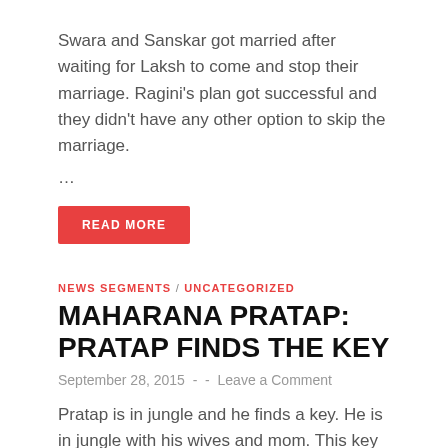Swara and Sanskar got married after waiting for Laksh to come and stop their marriage. Ragini's plan got successful and they didn't have any other option to skip the marriage. ...
READ MORE
NEWS SEGMENTS / UNCATEGORIZED
MAHARANA PRATAP: PRATAP FINDS THE KEY
September 28, 2015  -  -  Leave a Comment
Pratap is in jungle and he finds a key. He is in jungle with his wives and mom. This key is his road to become raja. Off screen: Pratap says ...
READ MORE